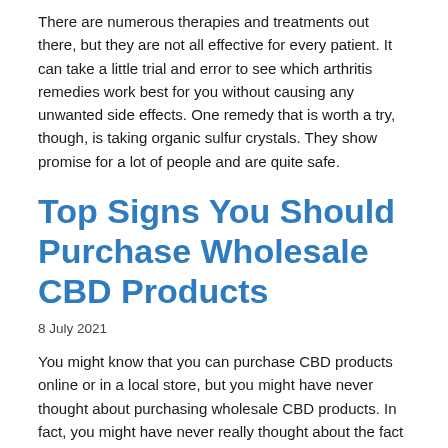There are numerous therapies and treatments out there, but they are not all effective for every patient. It can take a little trial and error to see which arthritis remedies work best for you without causing any unwanted side effects. One remedy that is worth a try, though, is taking organic sulfur crystals. They show promise for a lot of people and are quite safe.
Top Signs You Should Purchase Wholesale CBD Products
8 July 2021
You might know that you can purchase CBD products online or in a local store, but you might have never thought about purchasing wholesale CBD products. In fact, you might have never really thought about the fact that there are wholesale options for purchasing various types of CBD products. However, you should consider purchasing wholesale CBD tinctures, edibles, and more if any of these things are true. You Run a Store